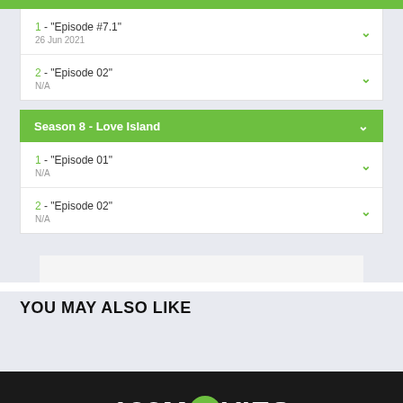1 - "Episode #7.1" | 26 Jun 2021
2 - "Episode 02" | N/A
Season 8 - Love Island
1 - "Episode 01" | N/A
2 - "Episode 02" | N/A
YOU MAY ALSO LIKE
123MOVIES